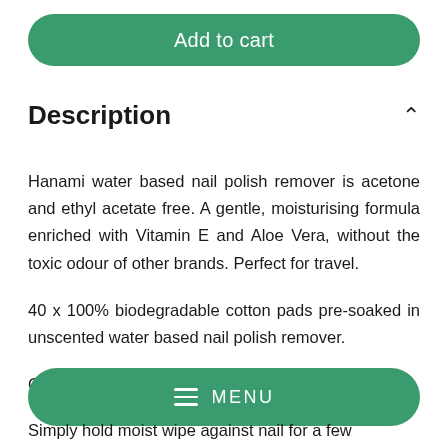[Figure (other): Green 'Add to cart' button with rounded corners]
Description
Hanami water based nail polish remover is acetone and ethyl acetate free. A gentle, moisturising formula enriched with Vitamin E and Aloe Vera, without the toxic odour of other brands. Perfect for travel.
40 x 100% biodegradable cotton pads pre-soaked in unscented water based nail polish remover.
Certified vegan and cruelty free, and manufactured
[Figure (other): Green MENU bar with hamburger icon and MENU text]
Simply hold moist wipe against nail for a few